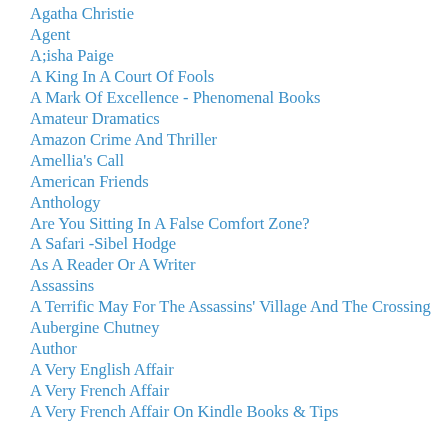Agatha Christie
Agent
A;isha Paige
A King In A Court Of Fools
A Mark Of Excellence - Phenomenal Books
Amateur Dramatics
Amazon Crime And Thriller
Amellia's Call
American Friends
Anthology
Are You Sitting In A False Comfort Zone?
A Safari -Sibel Hodge
As A Reader Or A Writer
Assassins
A Terrific May For The Assassins' Village And The Crossing
Aubergine Chutney
Author
A Very English Affair
A Very French Affair
A Very French Affair On Kindle Books & Tips